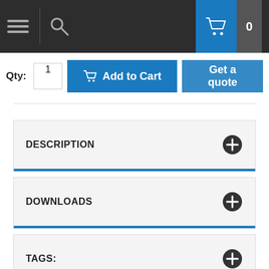[Figure (screenshot): Top navigation bar with hamburger menu icon, search icon, cart icon and badge showing 0]
Qty: 1  Add to Cart  Get a quote
DESCRIPTION
DOWNLOADS
TAGS:
Bestsellers